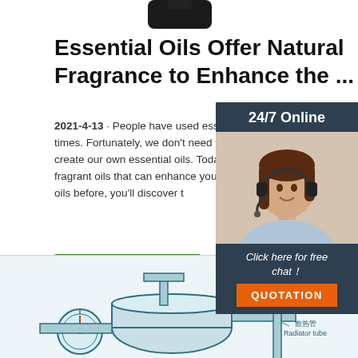[Figure (photo): Partial view of a dark product bottle at the top of the page]
Essential Oils Offer Natural Fragrance to Enhance the ...
2021-4-13 · People have used essential oils around their homes since ancient times. Fortunately, we don't need to harvest and press our own botanicals to create our own essential oils. Today, myriad manufacturers sell a variety of fragrant oils that can enhance your living space. If you've never used essential oils before, you'll discover t
[Figure (photo): 24/7 Online chat widget showing a female customer support agent wearing a headset, with 'Click here for free chat!' text and an orange QUOTATION button]
[Figure (engineering-diagram): Engineering diagram showing cooling system components with Chinese and English labels: 冷却管/Cooling pipe and 散热管/Radiator tube]
[Figure (logo): Orange TOP icon with dot arrangement above the text TOP]